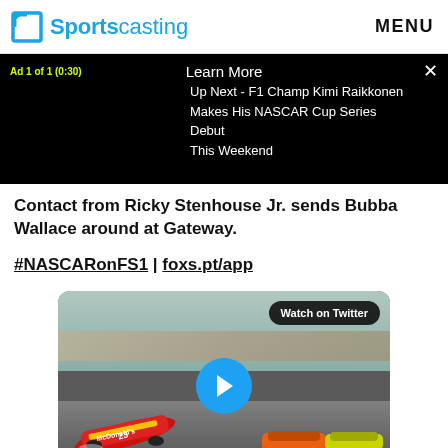Sportscasting | MENU
[Figure (screenshot): Ad overlay on video player: 'Ad 1 of 1 (0:30)' label in green, 'Learn More' button, X close button, black background with text 'Up Next - F1 Champ Kimi Raikkonen Makes His NASCAR Cup Series Debut This Weekend']
Contact from Ricky Stenhouse Jr. sends Bubba Wallace around at Gateway.
#NASCARonFS1 | foxs.pt/app
[Figure (screenshot): Video thumbnail of NASCAR race at Gateway showing the McDonald's #43 car of Bubba Wallace spinning, with other race cars visible, 'Watch on Twitter' badge in top right, and a blue play button in the center.]